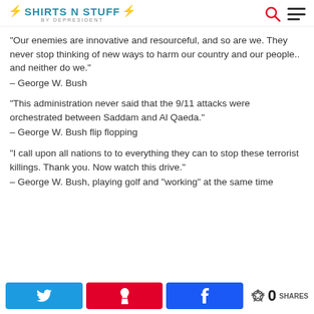SHIRTS N STUFF BY DEPRESIDENT
“Our enemies are innovative and resourceful, and so are we. They never stop thinking of new ways to harm our country and our people.. and neither do we.”
– George W. Bush
“This administration never said that the 9/11 attacks were orchestrated between Saddam and Al Qaeda.”
– George W. Bush flip flopping
“I call upon all nations to to everything they can to stop these terrorist killings. Thank you. Now watch this drive.”
– George W. Bush, playing golf and “working” at the same time
[Figure (other): Share bar with Twitter, Pinterest, and Facebook buttons and a share count of 0]